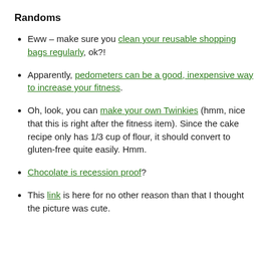Randoms
Eww – make sure you clean your reusable shopping bags regularly, ok?!
Apparently, pedometers can be a good, inexpensive way to increase your fitness.
Oh, look, you can make your own Twinkies (hmm, nice that this is right after the fitness item). Since the cake recipe only has 1/3 cup of flour, it should convert to gluten-free quite easily. Hmm.
Chocolate is recession proof?
This link is here for no other reason than that I thought the picture was cute.